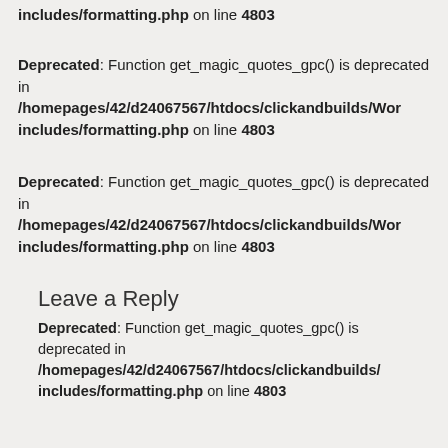includes/formatting.php on line 4803
Deprecated: Function get_magic_quotes_gpc() is deprecated in /homepages/42/d24067567/htdocs/clickandbuilds/Wor includes/formatting.php on line 4803
Deprecated: Function get_magic_quotes_gpc() is deprecated in /homepages/42/d24067567/htdocs/clickandbuilds/Wor includes/formatting.php on line 4803
Leave a Reply
Deprecated: Function get_magic_quotes_gpc() is deprecated in /homepages/42/d24067567/htdocs/clickandbuilds/ includes/formatting.php on line 4803